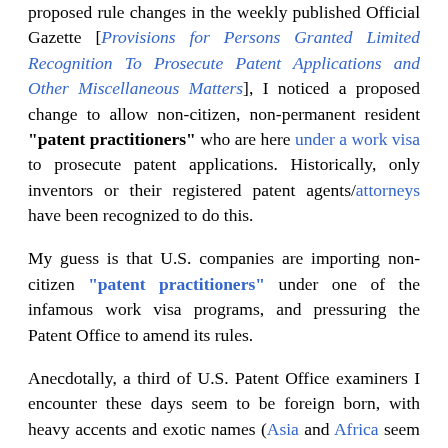proposed rule changes in the weekly published Official Gazette [Provisions for Persons Granted Limited Recognition To Prosecute Patent Applications and Other Miscellaneous Matters], I noticed a proposed change to allow non-citizen, non-permanent resident "patent practitioners" who are here under a work visa to prosecute patent applications. Historically, only inventors or their registered patent agents/attorneys have been recognized to do this.
My guess is that U.S. companies are importing non-citizen "patent practitioners" under one of the infamous work visa programs, and pressuring the Patent Office to amend its rules.
Anecdotally, a third of U.S. Patent Office examiners I encounter these days seem to be foreign born, with heavy accents and exotic names (Asia and Africa seem heavily represented).
I occasionally see a few corresponding...